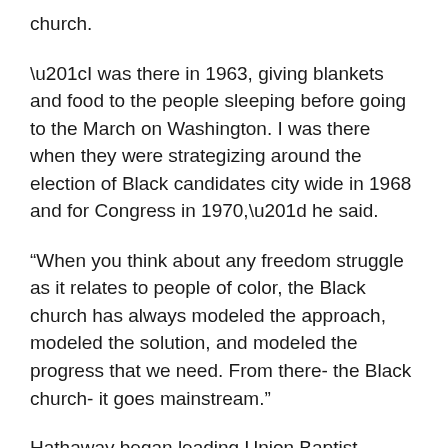church.
“I was there in 1963, giving blankets and food to the people sleeping before going to the March on Washington. I was there when they were strategizing around the election of Black candidates city wide in 1968 and for Congress in 1970,” he said.
“When you think about any freedom struggle as it relates to people of color, the Black church has always modeled the approach, modeled the solution, and modeled the progress that we need. From there- the Black church- it goes mainstream.”
Hathaway began leading Union Baptist Church in